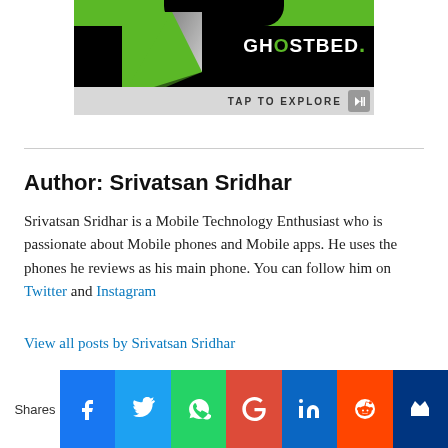[Figure (screenshot): GhostBed advertisement banner with black background, green accents, page peel effect, showing GHOSTBED. logo and TAP TO EXPLORE button]
Author: Srivatsan Sridhar
Srivatsan Sridhar is a Mobile Technology Enthusiast who is passionate about Mobile phones and Mobile apps. He uses the phones he reviews as his main phone. You can follow him on Twitter and Instagram
View all posts by Srivatsan Sridhar
Srivatsan Sridhar / April 13, 2020 / News, OPPO / OPPO Ace 2, OPPO Ace2
[Figure (infographic): Social sharing bar with Shares label and icons for Facebook, Twitter, WhatsApp, Google+, LinkedIn, Reddit, and Flipboard]